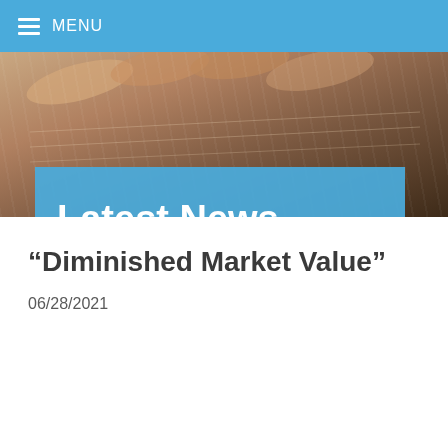MENU
[Figure (photo): Close-up photo of hands holding or touching pages of a book or document, warm brown tones]
Latest News
“Diminished Market Value”
06/28/2021